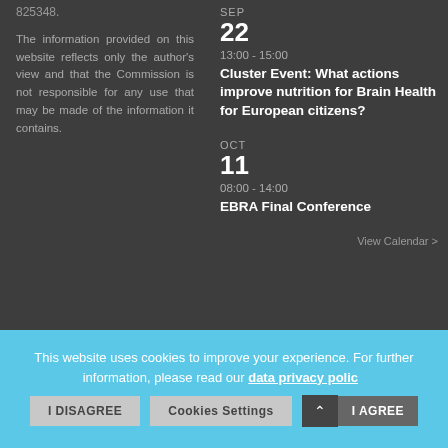825348.
The information provided on this website reflects only the author's view and that the Commission is not responsible for any use that may be made of the information it contains.
SEP
22
13:00 - 15:00
Cluster Event: What actions improve nutrition for Brain Health for European citizens?
OCT
11
08:00 - 14:00
EBRA Final Conference
This website uses cookies to improve your experience. For further information, please read our data privacy policy.
I DISAGREE | Cookies Settings | I AGREE